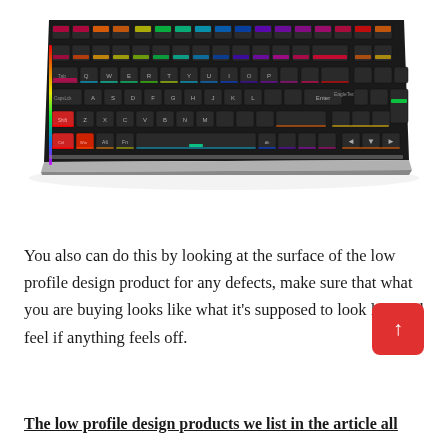[Figure (photo): An RGB mechanical gaming keyboard (EagleTec brand) with colorful backlit keys in rainbow colors (red, orange, yellow, green, blue, purple), shown in a perspective/angled view against a white background.]
You also can do this by looking at the surface of the low profile design product for any defects, make sure that what you are buying looks like what it's supposed to look like and feel if anything feels off.
The low profile design products we list in the article all